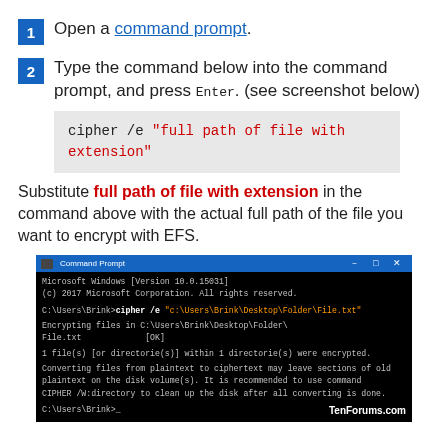1  Open a command prompt.
2  Type the command below into the command prompt, and press Enter. (see screenshot below)
cipher /e "full path of file with extension"
Substitute full path of file with extension in the command above with the actual full path of the file you want to encrypt with EFS.
[Figure (screenshot): Command Prompt window showing: cipher /e command encrypting C:\Users\Brink\Desktop\Folder\File.txt, output showing encryption success, TenForums.com watermark]